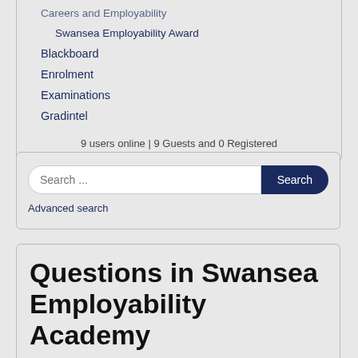Careers and Employability
Swansea Employability Award
Blackboard
Enrolment
Examinations
Gradintel
9 users online | 9 Guests and 0 Registered
Search ...
Advanced search
Questions in Swansea Employability Academy
FAQs   Subcategories